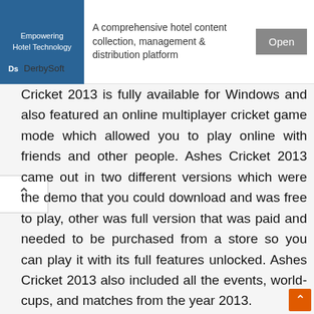[Figure (other): Advertisement banner for DerbySoft hotel technology platform with logo, description text, and Open button]
Cricket 2013 is fully available for Windows and also featured an online multiplayer cricket game mode which allowed you to play online with friends and other people. Ashes Cricket 2013 came out in two different versions which were the demo that you could download and was free to play, other was full version that was paid and needed to be purchased from a store so you can play it with its full features unlocked. Ashes Cricket 2013 also included all the events, world-cups, and matches from the year 2013.
Ashes Cricket 2013 had all the famous cricket teams including English and Australian teams same as the IPL series had. Ashes Cricket has all the features of a mod cricket game for pc such as EA Cricket 2014 and Brian...